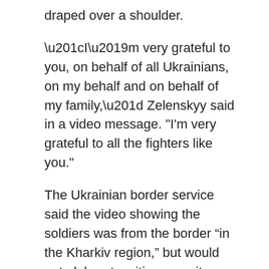draped over a shoulder.
“I’m very grateful to you, on behalf of all Ukrainians, on my behalf and on behalf of my family,” Zelenskyy said in a video message. "I’m very grateful to all the fighters like you."
The Ukrainian border service said the video showing the soldiers was from the border “in the Kharkiv region,” but would not elaborate, citing security reasons. It was not immediately possible to verify the exact location.
Ukrainian border guards said they also stopped a Russian attempt to send sabotage and reconnaissance troops into the Sumy region, some 146 kilometres northwest of Kharkiv.
Russia has been plagued by setbacks in the